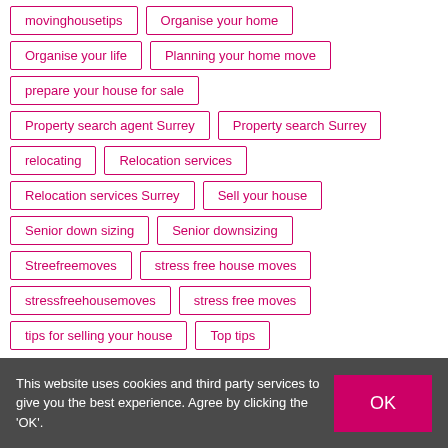movinghousetips
Organise your home
Organise your life
Planning your home move
prepare your house for sale
Property search agent Surrey
Property search Surrey
relocating
Relocation services
Relocation services Surrey
Sell your house
Senior down sizing
Senior downsizing
Streefreemoves
stress free house moves
stressfreehousemoves
stress free moves
tips for selling your house
Top tips
This website uses cookies and third party services to give you the best experience. Agree by clicking the ‘OK’.
OK